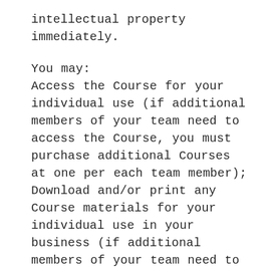intellectual property immediately.
You may:
Access the Course for your individual use (if additional members of your team need to access the Course, you must purchase additional Courses at one per each team member);
Download and/or print any Course materials for your individual use in your business (if additional members of your team need to download and/or print any materials from the Course, you must purchase additional Courses at one per